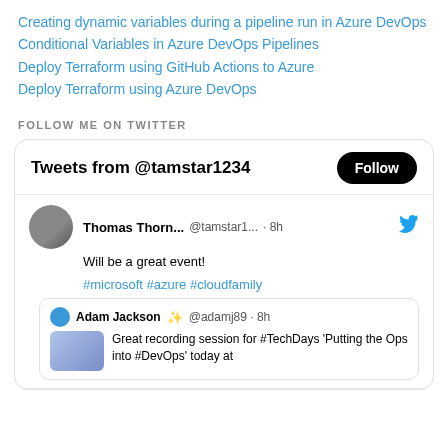Creating dynamic variables during a pipeline run in Azure DevOps
Conditional Variables in Azure DevOps Pipelines
Deploy Terraform using GitHub Actions to Azure
Deploy Terraform using Azure DevOps
FOLLOW ME ON TWITTER
[Figure (screenshot): Twitter widget showing tweets from @tamstar1234 with a Follow button, a tweet by Thomas Thorn... @tamstar1... 8h saying 'Will be a great event!' with hashtags #microsoft #azure #cloudfamily, and a retweet from Adam Jackson @adamj89 8h saying 'Great recording session for #TechDays Putting the Ops into #DevOps today at']